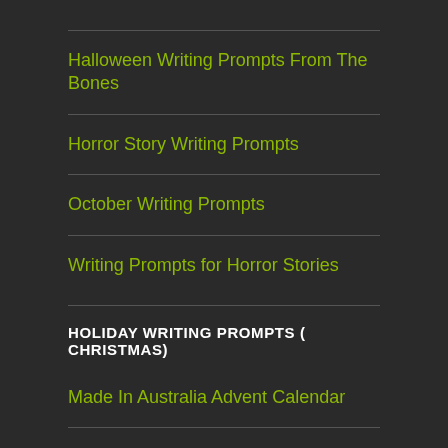Halloween Writing Prompts From The Bones
Horror Story Writing Prompts
October Writing Prompts
Writing Prompts for Horror Stories
HOLIDAY WRITING PROMPTS ( CHRISTMAS)
Made In Australia Advent Calendar
MUSEUMS